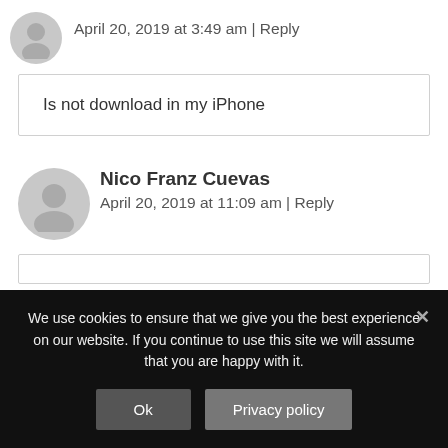April 20, 2019 at 3:49 am | Reply
Is not download in my iPhone
Nico Franz Cuevas
April 20, 2019 at 11:09 am | Reply
We use cookies to ensure that we give you the best experience on our website. If you continue to use this site we will assume that you are happy with it.